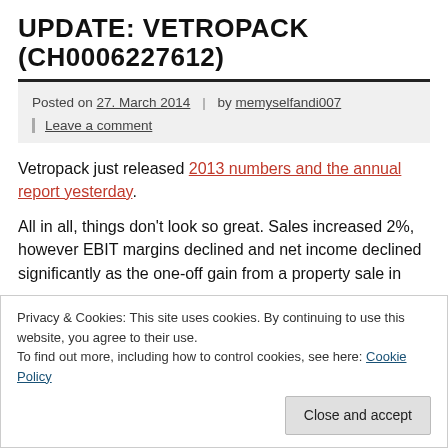UPDATE: VETROPACK (CH0006227612)
Posted on 27. March 2014 | by memyselfandi007 | Leave a comment
Vetropack just released 2013 numbers and the annual report yesterday.
All in all, things don't look so great. Sales increased 2%, however EBIT margins declined and net income declined significantly as the one-off gain from a property sale in
Privacy & Cookies: This site uses cookies. By continuing to use this website, you agree to their use.
To find out more, including how to control cookies, see here: Cookie Policy
depreciated against the EUR, so all things equal, even